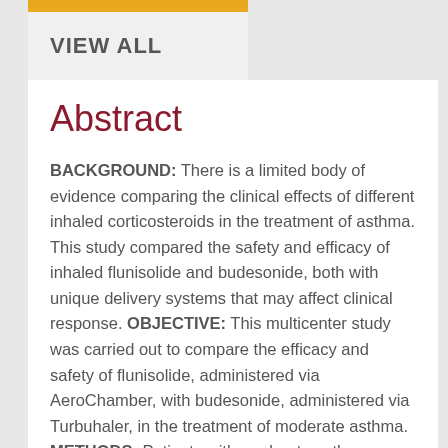VIEW ALL
Abstract
BACKGROUND: There is a limited body of evidence comparing the clinical effects of different inhaled corticosteroids in the treatment of asthma. This study compared the safety and efficacy of inhaled flunisolide and budesonide, both with unique delivery systems that may affect clinical response. OBJECTIVE: This multicenter study was carried out to compare the efficacy and safety of flunisolide, administered via AeroChamber, with budesonide, administered via Turbuhaler, in the treatment of moderate asthma. METHODS: Patients with moderate asthma, defined as an FEV1 of 40% to 85% of